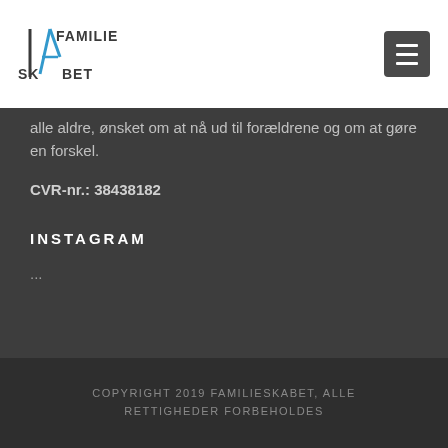[Figure (logo): Familieskabet logo with stylized A and text FAMILIE SKABET]
alle aldre, ønsket om at nå ud til forældrene og om at gøre en forskel.
CVR-nr.: 38438182
INSTAGRAM
...
COPYRIGHT 2019 FAMILIESKABET, ALLE RETTIGHEDER FORBEHOLDES